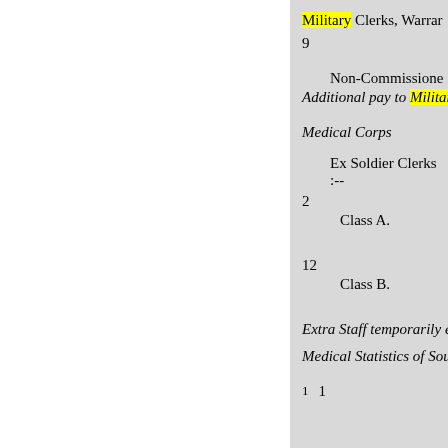Military Clerks, Warran...
9
Non-Commissioned...
Additional pay to Military C...
Medical Corps
Ex Soldier Clerks :--
2
Class A.
12
Class B.
Extra Staff temporarily emp...
Medical Statistics of South Afr...
1    1